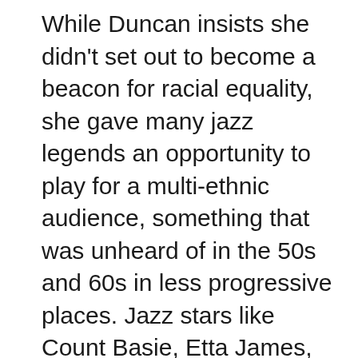While Duncan insists she didn't set out to become a beacon for racial equality, she gave many jazz legends an opportunity to play for a multi-ethnic audience, something that was unheard of in the 50s and 60s in less progressive places. Jazz stars like Count Basie, Etta James, Duke Ellington, and Billie Holiday graced the stage of the Cotton Club, making it legendary.